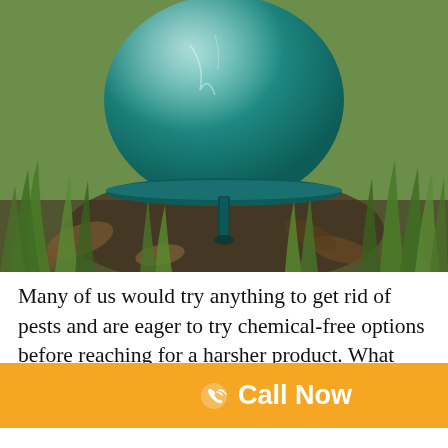[Figure (photo): Close-up photo of a green dome-shaped ultrasonic pest repeller device staked into the ground among green grass and dried leaves.]
Many of us would try anything to get rid of pests and are eager to try chemical-free options before reaching for a harsher product. What about ultrasonic pest repellers? [Call Now button overlaid] ut this chemical-f[obscured]